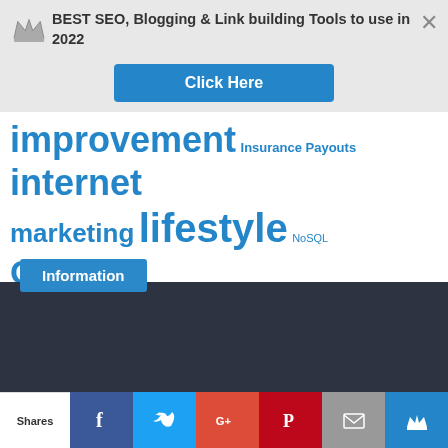BEST SEO, Blogging & Link building Tools to use in 2022
[Figure (infographic): Blue Click Here button]
improvement Insurance Payouts internet marketing lifestyle NoSQL Online Marketing Personal Finance ppc marketing SEO seo services Shopping Shopping news smartphones social media social media marketing social media services Tech Gadgets travel apps travel news travel tips Follow my blog with Bloglovin
Information
Shares | Facebook | Twitter | Google+ | Pinterest | Email | Crown